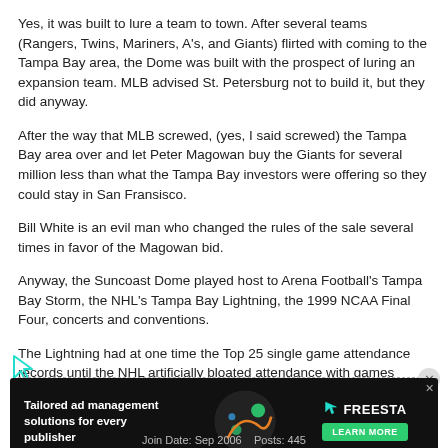Yes, it was built to lure a team to town. After several teams (Rangers, Twins, Mariners, A's, and Giants) flirted with coming to the Tampa Bay area, the Dome was built with the prospect of luring an expansion team. MLB advised St. Petersburg not to build it, but they did anyway.
After the way that MLB screwed, (yes, I said screwed) the Tampa Bay area over and let Peter Magowan buy the Giants for several million less than what the Tampa Bay investors were offering so they could stay in San Fransisco.
Bill White is an evil man who changed the rules of the sale several times in favor of the Magowan bid.
Anyway, the Suncoast Dome played host to Arena Football's Tampa Bay Storm, the NHL's Tampa Bay Lightning, the 1999 NCAA Final Four, concerts and conventions.
The Lightning had at one time the Top 25 single game attendance records until the NHL artificially bloated attendance with games played outdoors in Edmonton and Buffalo.
[Figure (illustration): Advertisement banner: Tailored ad management solutions for every publisher — Freesta with Learn More button]
Join Date: Sep 2006   Posts: 445